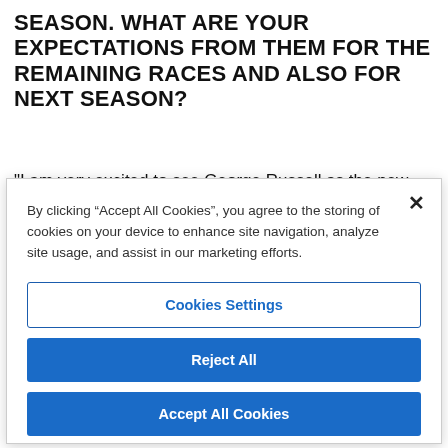SEASON. WHAT ARE YOUR EXPECTATIONS FROM THEM FOR THE REMAINING RACES AND ALSO FOR NEXT SEASON?
"I am very excited to see George Russell as the new teammate for Lewis. He already showed last year at Bahrain how quick he is. He is a very talented young
By clicking “Accept All Cookies”, you agree to the storing of cookies on your device to enhance site navigation, analyze site usage, and assist in our marketing efforts.
Cookies Settings
Reject All
Accept All Cookies